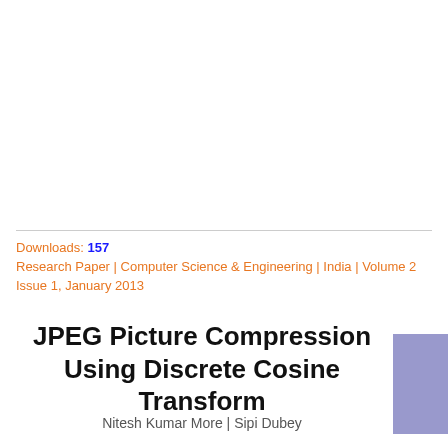Downloads: 157
Research Paper | Computer Science & Engineering | India | Volume 2 Issue 1, January 2013
JPEG Picture Compression Using Discrete Cosine Transform
Nitesh Kumar More | Sipi Dubey